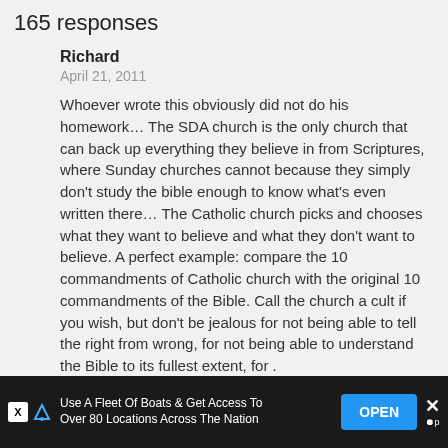165 responses
Richard
April 21, 2011
Whoever wrote this obviously did not do his homework… The SDA church is the only church that can back up everything they believe in from Scriptures, where Sunday churches cannot because they simply don't study the bible enough to know what's even written there… The Catholic church picks and chooses what they want to believe and what they don't want to believe. A perfect example: compare the 10 commandments of Catholic church with the original 10 commandments of the Bible. Call the church a cult if you wish, but don't be jealous for not being able to tell the right from wrong, for not being able to understand the Bible to its fullest extent, for .
1. SDA's believe the Sabbath is Saturday because Saturday is the seventh day of the week in which
[Figure (screenshot): Advertisement bar at bottom: 'Use A Fleet Of Boats & Get Access To Over 80 Locations Across The Nation' with OPEN button]